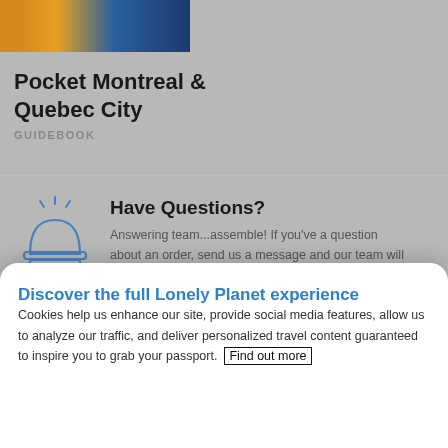[Figure (photo): Partial view of a Lonely Planet guidebook cover for Pocket Montreal & Quebec City, with orange and blue tones]
Pocket Montreal & Quebec City
GUIDEBOOK
Have Questions?
Answering team...assemble! If you've a question about an order, send us a message and our team will reply as soon as possible.
Shipping Deals
Not much is free these days. Hugs are. So is a
Discover the full Lonely Planet experience
Cookies help us enhance our site, provide social media features, allow us to analyze our traffic, and deliver personalized travel content guaranteed to inspire you to grab your passport.  Find out more